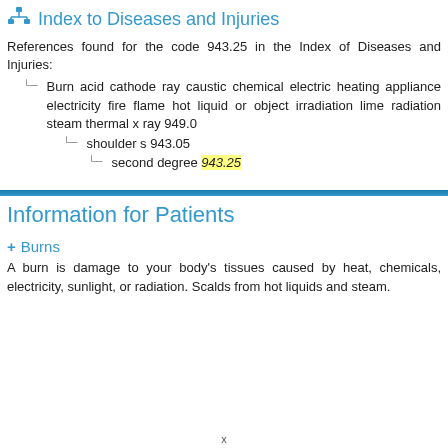Index to Diseases and Injuries
References found for the code 943.25 in the Index of Diseases and Injuries:
Burn acid cathode ray caustic chemical electric heating appliance electricity fire flame hot liquid or object irradiation lime radiation steam thermal x ray 949.0
shoulder s 943.05
second degree 943.25
Information for Patients
Burns
A burn is damage to your body's tissues caused by heat, chemicals, electricity, sunlight, or radiation. Scalds from hot liquids and steam.